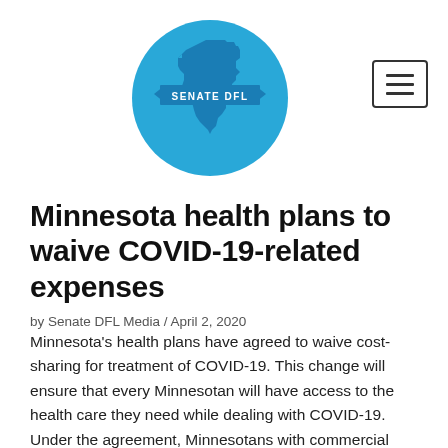[Figure (logo): Minnesota Senate DFL circular logo: blue circle with outline of Minnesota state and a banner reading 'SENATE DFL']
Minnesota health plans to waive COVID-19-related expenses
by Senate DFL Media / April 2, 2020
Minnesota's health plans have agreed to waive cost-sharing for treatment of COVID-19. This change will ensure that every Minnesotan will have access to the health care they need while dealing with COVID-19. Under the agreement, Minnesotans with commercial insurance—including